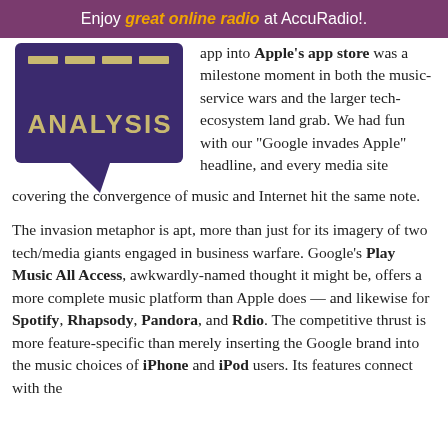Enjoy great online radio at AccuRadio!.
[Figure (logo): Dark purple speech bubble with 'ANALYSIS' text in gold/tan letters, styled as a media analysis logo]
app into Apple's app store was a milestone moment in both the music-service wars and the larger tech-ecosystem land grab. We had fun with our “Google invades Apple” headline, and every media site covering the convergence of music and Internet hit the same note.
The invasion metaphor is apt, more than just for its imagery of two tech/media giants engaged in business warfare. Google’s Play Music All Access, awkwardly-named thought it might be, offers a more complete music platform than Apple does — and likewise for Spotify, Rhapsody, Pandora, and Rdio. The competitive thrust is more feature-specific than merely inserting the Google brand into the music choices of iPhone and iPod users. Its features connect with the